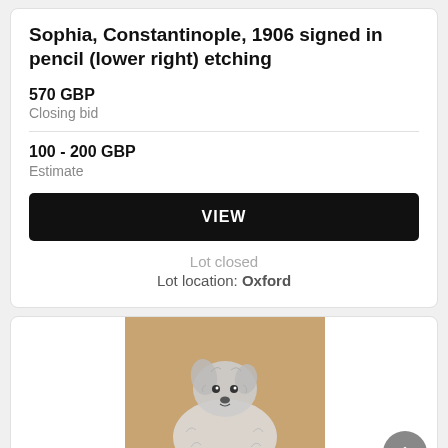Sophia, Constantinople, 1906 signed in pencil (lower right) etching
570 GBP
Closing bid
100 - 200 GBP
Estimate
VIEW
Lot closed
Lot location: Oxford
[Figure (photo): Etching/drawing of a small scruffy white terrier dog sitting on a tan/brown background]